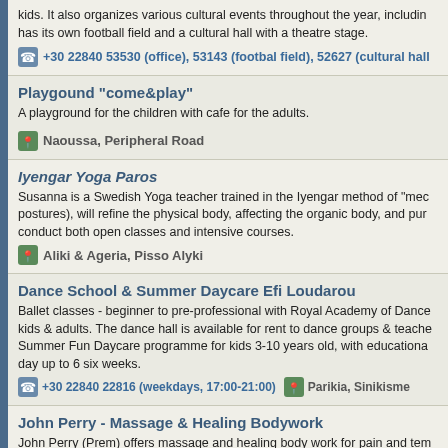kids. It also organizes various cultural events throughout the year, includin has its own football field and a cultural hall with a theatre stage.
+30 22840 53530 (office), 53143 (footbal field), 52627 (cultural hall
Playgound "come&play"
A playground for the children with cafe for the adults.
Naoussa, Peripheral Road
Iyengar Yoga Paros
Susanna is a Swedish Yoga teacher trained in the Iyengar method of "mec postures), will refine the physical body, affecting the organic body, and pur conduct both open classes and intensive courses.
Aliki & Ageria, Pisso Alyki
Dance School & Summer Daycare Efi Loudarou
Ballet classes - beginner to pre-professional with Royal Academy of Dance kids & adults. The dance hall is available for rent to dance groups & teache Summer Fun Daycare programme for kids 3-10 years old, with educationa day up to 6 six weeks.
+30 22840 22816 (weekdays, 17:00-21:00)   Parikia, Sinikisme
John Perry - Massage & Healing Bodywork
John Perry (Prem) offers massage and healing body work for pain and tem